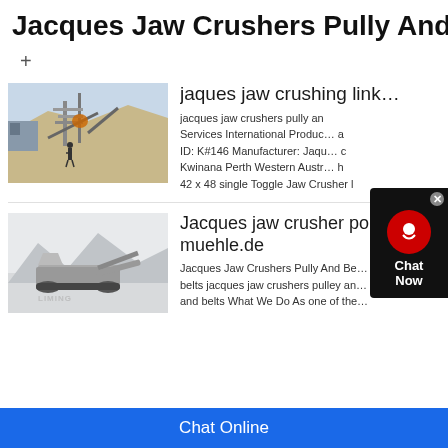Jacques Jaw Crushers Pully And …
+
[Figure (photo): Industrial jaw crusher equipment at a mining/quarrying site with a person standing in front, dusty landscape]
jaques jaw crushing link…
jacques jaw crushers pully an… Services International Produc… a ID: K#146 Manufacturer: Jaqu… c Kwinana Perth Western Austr… h 42 x 48 single Toggle Jaw Crusher l
[Figure (photo): Mobile jaw crusher machine on snowy/white terrain with LIMING watermark]
Jacques jaw crusher po… muehle.de
Jacques Jaw Crushers Pully And Be… belts jacques jaw crushers pulley an… and belts What We Do As one of the…
Chat Online